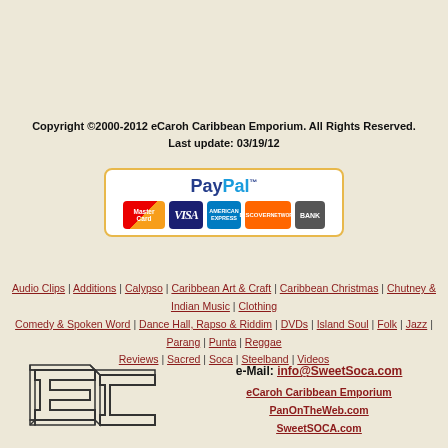Copyright ©2000-2012 eCaroh Caribbean Emporium. All Rights Reserved.
Last update: 03/19/12
[Figure (logo): PayPal payment accepted logo with MasterCard, VISA, American Express, Discover, and Bank cards shown]
Audio Clips | Additions | Calypso | Caribbean Art & Craft | Caribbean Christmas | Chutney & Indian Music | Clothing | Comedy & Spoken Word | Dance Hall, Rapso & Riddim | DVDs | Island Soul | Folk | Jazz | Parang | Punta | Reggae | Reviews | Sacred | Soca | Steelband | Videos
[Figure (logo): eCaroh Caribbean Emporium EC logo - stylized block letters EC in outline style]
e-Mail: info@SweetSoca.com
eCaroh Caribbean Emporium
PanOnTheWeb.com
SweetSOCA.com